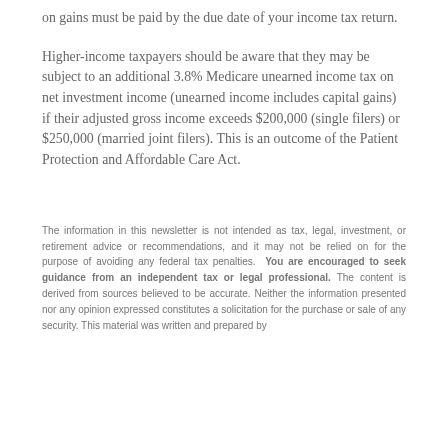on gains must be paid by the due date of your income tax return.
Higher-income taxpayers should be aware that they may be subject to an additional 3.8% Medicare unearned income tax on net investment income (unearned income includes capital gains) if their adjusted gross income exceeds $200,000 (single filers) or $250,000 (married joint filers). This is an outcome of the Patient Protection and Affordable Care Act.
The information in this newsletter is not intended as tax, legal, investment, or retirement advice or recommendations, and it may not be relied on for the purpose of avoiding any federal tax penalties. You are encouraged to seek guidance from an independent tax or legal professional. The content is derived from sources believed to be accurate. Neither the information presented nor any opinion expressed constitutes a solicitation for the purchase or sale of any security. This material was written and prepared by